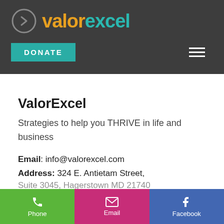[Figure (logo): ValorExcel logo with circular arrow icon and two-tone brand name text in orange and teal]
DONATE
ValorExcel
Strategies to help you THRIVE in life and business
Email: info@valorexcel.com
Address: 324 E. Antietam Street,
Phone  Email  Facebook